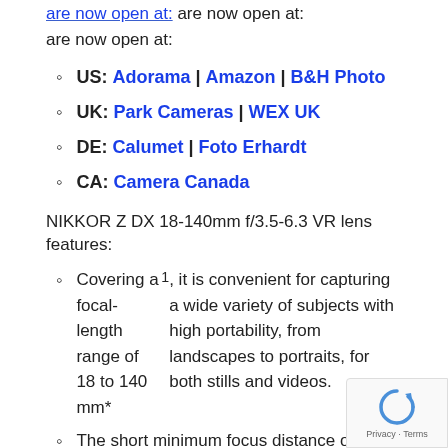are now open at:
US: Adorama | Amazon | B&H Photo
UK: Park Cameras | WEX UK
DE: Calumet | Foto Erhardt
CA: Camera Canada
NIKKOR Z DX 18-140mm f/3.5-6.3 VR lens features:
Covering a focal-length range of 18 to 140 mm*1, it is convenient for capturing a wide variety of subjects with high portability, from landscapes to portraits, for both stills and videos.
The short minimum focus distance of 0.20 m at the maximum wide-angle position is ideal for close-up shots.
The maximum reproduction ratio of 0.33x at the